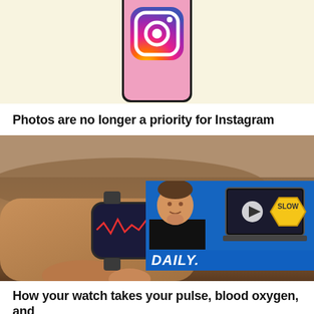[Figure (photo): Smartphone displaying the Instagram app icon with colorful gradient background (pink, purple, orange), shown against a cream/yellow background]
Photos are no longer a priority for Instagram
[Figure (photo): Close-up of a person's wrist wearing an Apple Watch showing health metrics, with a video overlay showing a man (host) at a laptop next to a SLOW road sign, with text 'DAILY.' at the bottom]
How your watch takes your pulse, blood oxygen, and